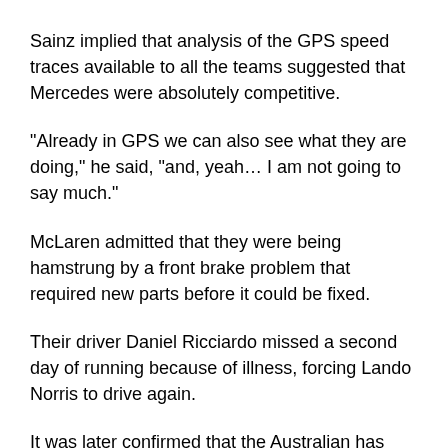Sainz implied that analysis of the GPS speed traces available to all the teams suggested that Mercedes were absolutely competitive.
"Already in GPS we can also see what they are doing," he said, "and, yeah… I am not going to say much."
McLaren admitted that they were being hamstrung by a front brake problem that required new parts before it could be fixed.
Their driver Daniel Ricciardo missed a second day of running because of illness, forcing Lando Norris to drive again.
It was later confirmed that the Australian has tested positive for Covid-19 and will miss the final day with Norris stepping in once again.
McLaren said in a statement that Ricciardo was "continuing to isolate in accordance with local